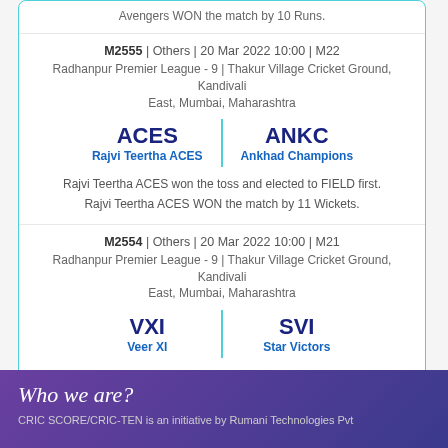Avengers WON the match by 10 Runs.
M2555 | Others | 20 Mar 2022 10:00 | M22
Radhanpur Premier League - 9 | Thakur Village Cricket Ground, Kandivali East, Mumbai, Maharashtra
ACES | Rajvi Teertha ACES | ANKC | Ankhad Champions
Rajvi Teertha ACES won the toss and elected to FIELD first.
Rajvi Teertha ACES WON the match by 11 Wickets.
M2554 | Others | 20 Mar 2022 10:00 | M21
Radhanpur Premier League - 9 | Thakur Village Cricket Ground, Kandivali East, Mumbai, Maharashtra
VXI | Veer XI | SVI | Star Victors
Veer XI won the toss and elected to FIELD first.
Veer XI WON the match by 10 Wickets.
Who we are?
CRIC SCORE/CRIC-TEN is an initiative by Rumani Technologies Pvt